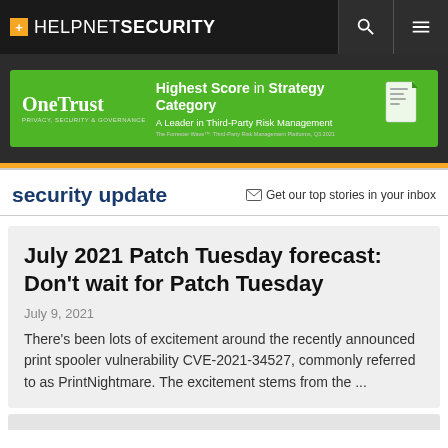+ HELPNETSECURITY
[Figure (other): OneTrust advertisement banner — green background. Left: OneTrust logo (large serif text) with 'PRIVACY, SECURITY & GOVERNANCE' subtitle. Center: 'Highest Score in Strategy Category' headline, 'A Leader in Third-Party Risk Management' tagline. Right: document graphic.]
security update
✉ Get our top stories in your inbox
July 2021 Patch Tuesday forecast: Don't wait for Patch Tuesday
July 9, 2021
There's been lots of excitement around the recently announced print spooler vulnerability CVE-2021-34527, commonly referred to as PrintNightmare. The excitement stems from the ...